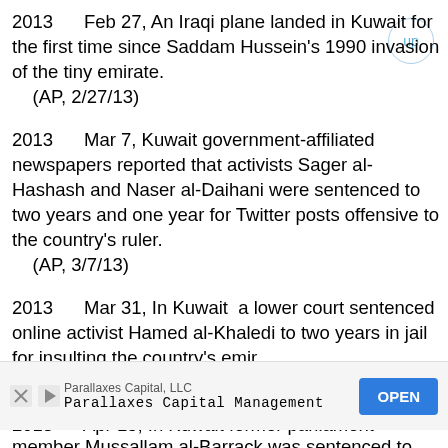2013    Feb 27, An Iraqi plane landed in Kuwait for the first time since Saddam Hussein's 1990 invasion of the tiny emirate.
    (AP, 2/27/13)
2013    Mar 7, Kuwait government-affiliated newspapers reported that activists Sager al-Hashash and Naser al-Daihani were sentenced to two years and one year for Twitter posts offensive to the country's ruler.
    (AP, 3/7/13)
2013    Mar 31, In Kuwait  a lower court sentenced online activist Hamed al-Khaledi to two years in jail for insulting the country's emir.
    (AP, 3/31/13)
2013    Apr 15, In Kuwait former parliament member Mussallam al-Barrack was sentenced to five years in prison on
[Figure (other): Advertisement banner for Parallaxes Capital, LLC - Parallaxes Capital Management with an OPEN button]